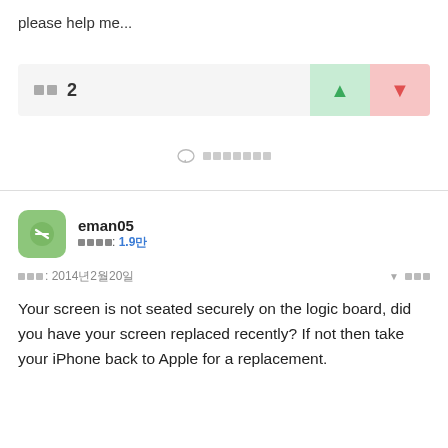please help me...
댓글 2
댓글 달기
eman05
평판 점수: 1.9만
게시됨: 2014년2월20일
Your screen is not seated securely on the logic board, did you have your screen replaced recently? If not then take your iPhone back to Apple for a replacement.